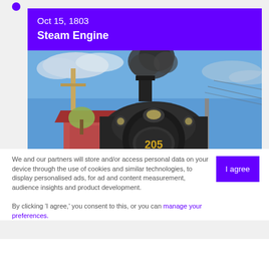Oct 15, 1803
Steam Engine
[Figure (photo): Steam locomotive numbered 205 photographed from below, approaching head-on against a blue sky with clouds and smoke. A red building and wooden pole are visible in the background.]
We and our partners will store and/or access personal data on your device through the use of cookies and similar technologies, to display personalised ads, for ad and content measurement, audience insights and product development.

By clicking 'I agree,' you consent to this, or you can manage your preferences.